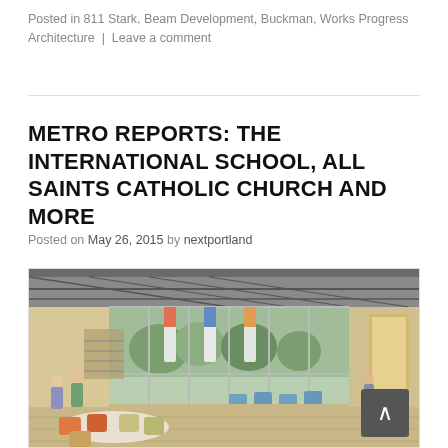Posted in 811 Stark, Beam Development, Buckman, Works Progress Architecture | Leave a comment
METRO REPORTS: THE INTERNATIONAL SCHOOL, ALL SAINTS CATHOLIC CHURCH AND MORE
Posted on May 26, 2015 by nextportland
[Figure (illustration): Architectural rendering of an interior school cafeteria/common area with large windows, tables, chairs, and hanging banners. Watercolor-style illustration showing students and open modern space.]